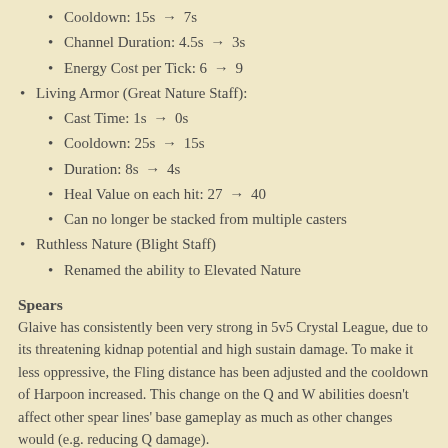Cooldown: 15s → 7s
Channel Duration: 4.5s → 3s
Energy Cost per Tick: 6 → 9
Living Armor (Great Nature Staff):
Cast Time: 1s → 0s
Cooldown: 25s → 15s
Duration: 8s → 4s
Heal Value on each hit: 27 → 40
Can no longer be stacked from multiple casters
Ruthless Nature (Blight Staff)
Renamed the ability to Elevated Nature
Spears
Glaive has consistently been very strong in 5v5 Crystal League, due to its threatening kidnap potential and high sustain damage. To make it less oppressive, the Fling distance has been adjusted and the cooldown of Harpoon increased. This change on the Q and W abilities doesn't affect other spear lines' base gameplay as much as other changes would (e.g. reducing Q damage).
Harpoon (all Spears):